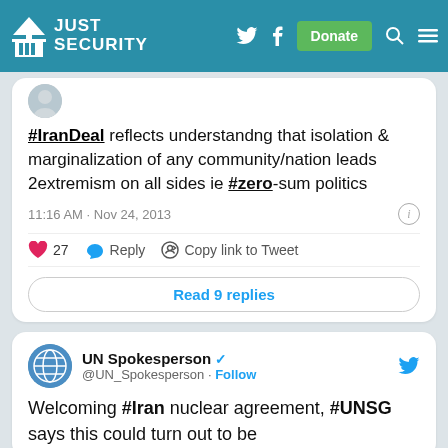Just Security
#IranDeal reflects understandng that isolation & marginalization of any community/nation leads 2extremism on all sides ie #zero-sum politics
11:16 AM · Nov 24, 2013
27  Reply  Copy link to Tweet
Read 9 replies
UN Spokesperson @UN_Spokesperson · Follow
Welcoming #Iran nuclear agreement, #UNSG says this could turn out to be